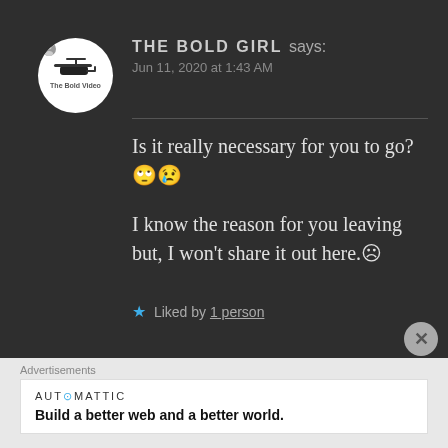THE BOLD GIRL says: Jun 11, 2020 at 1:43 AM
Is it really necessary for you to go?🙄😢
I know the reason for you leaving but, I won't share it out here.☹
★ Liked by 1 person
Advertisements
AUTOMATTIC
Build a better web and a better world.